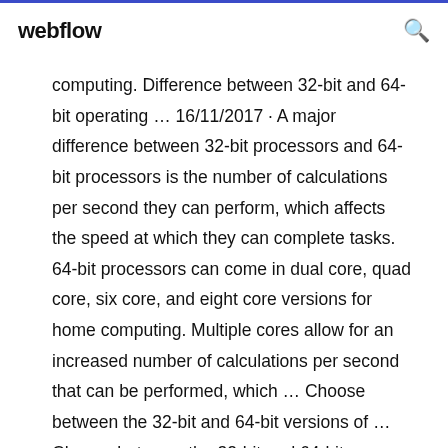webflow
computing. Difference between 32-bit and 64-bit operating … 16/11/2017 · A major difference between 32-bit processors and 64-bit processors is the number of calculations per second they can perform, which affects the speed at which they can complete tasks. 64-bit processors can come in dual core, quad core, six core, and eight core versions for home computing. Multiple cores allow for an increased number of calculations per second that can be performed, which … Choose between the 32-bit and 64-bit versions of … Choose between the 32-bit and 64-bit versions of Office As mentioned before, Microsoft recommends the 32-bit version of Office for